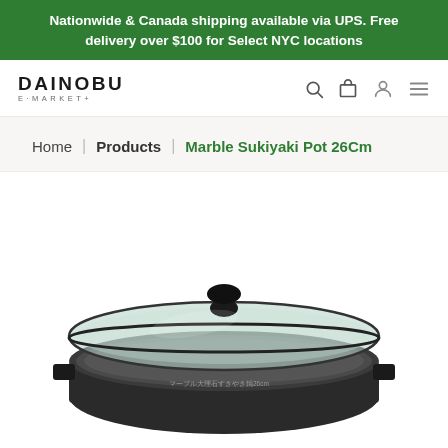Nationwide & Canada shipping available via UPS. Free delivery over $100 for Select NYC locations
[Figure (logo): DAINOBU E-MARKET+ logo with navigation icons (search, cart, account, menu)]
Home | Products | Marble Sukiyaki Pot 26Cm
[Figure (photo): Marble Sukiyaki Pot 26Cm product photo showing a wide shallow black pot with glass lid and black knob handle, seen from slightly above, with Japanese text on the pot body]